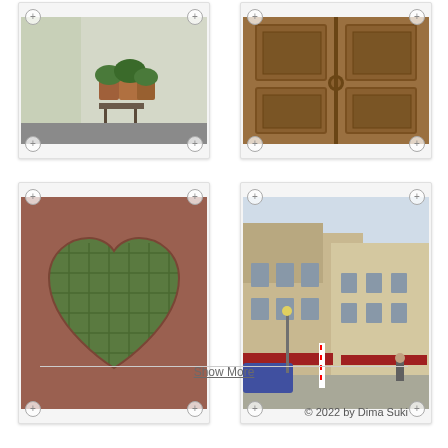[Figure (photo): Photo of potted plants on a metal table outside, with white wall background]
[Figure (photo): Photo of an ornate wooden door with carved panels]
[Figure (photo): Photo of a decorative heart shape cutout in a reddish-brown metal panel with grid pattern visible through the heart]
[Figure (photo): Photo of a European street scene with buildings, shops, a barber pole, and pedestrians]
Show More
© 2022 by Dima Suki